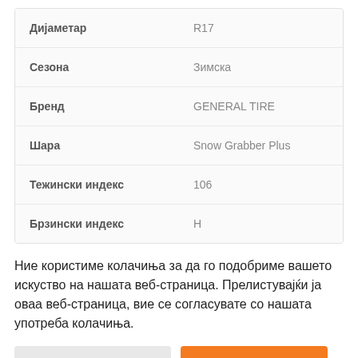| Атрибут | Вредност |
| --- | --- |
| Дијаметар | R17 |
| Сезона | Зимска |
| Бренд | GENERAL TIRE |
| Шара | Snow Grabber Plus |
| Тежински индекс | 106 |
| Брзински индекс | H |
Ние користиме колачиња за да го подобриме вашето искуство на нашата веб-страница. Прелистувајќи ja оваа веб-страница, вие се согласувате со нашата употреба колачиња.
Поставки за колачиња
Прифати колачиња